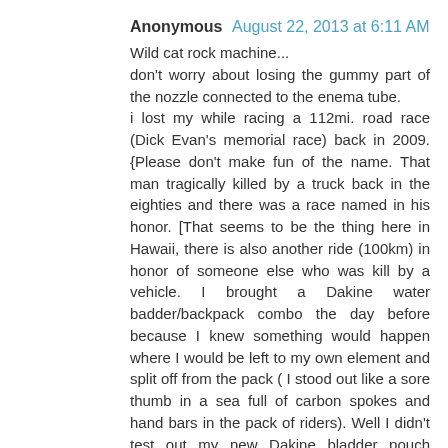Anonymous  August 22, 2013 at 6:11 AM
Wild cat rock machine...
don't worry about losing the gummy part of the nozzle connected to the enema tube.
i lost my while racing a 112mi. road race (Dick Evan's memorial race) back in 2009. {Please don't make fun of the name. That man tragically killed by a truck back in the eighties and there was a race named in his honor. [That seems to be the thing here in Hawaii, there is also another ride (100km) in honor of someone else who was kill by a vehicle. I brought a Dakine water badder/backpack combo the day before because I knew something would happen where I would be left to my own element and split off from the pack ( I stood out like a sore thumb in a sea full of carbon spokes and hand bars in the pack of riders). Well I didn't test out my new Dakine bladder pouch before the race ( never a good thing for any cycling gear) I lose it after I had two consecutive flats ( that's when I lost touch with the middle of the pack) I was pasting by the pineapple fields and I drank all the water in the bottle that was given to me a the feed pass so I tried to get a drink. I couldn't figure it out and pop went the gummy thing on the nozzle